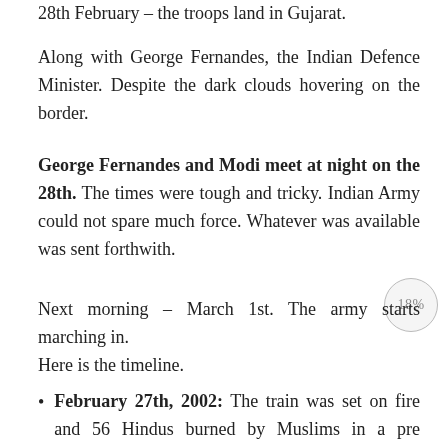28th February – the troops land in Gujarat.
Along with George Fernandes, the Indian Defence Minister. Despite the dark clouds hovering on the border.
George Fernandes and Modi meet at night on the 28th. The times were tough and tricky. Indian Army could not spare much force. Whatever was available was sent forthwith.
Next morning – March 1st. The army starts marching in.
Here is the timeline.
February 27th, 2002: The train was set on fire and 56 Hindus burned by Muslims in a pre planned way while the mob stoned them